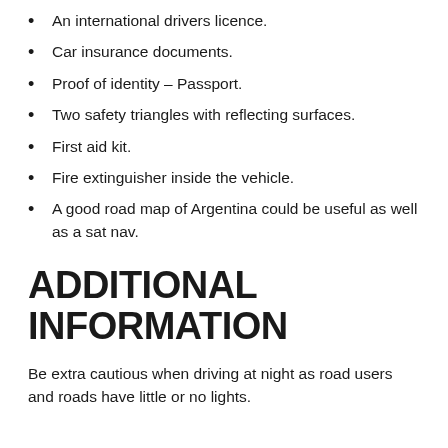An international drivers licence.
Car insurance documents.
Proof of identity – Passport.
Two safety triangles with reflecting surfaces.
First aid kit.
Fire extinguisher inside the vehicle.
A good road map of Argentina could be useful as well as a sat nav.
ADDITIONAL INFORMATION
Be extra cautious when driving at night as road users and roads have little or no lights.